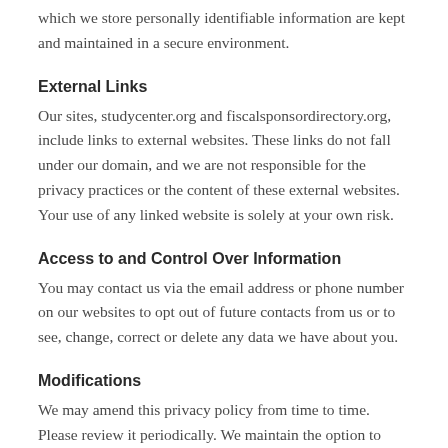which we store personally identifiable information are kept and maintained in a secure environment.
External Links
Our sites, studycenter.org and fiscalsponsordirectory.org, include links to external websites. These links do not fall under our domain, and we are not responsible for the privacy practices or the content of these external websites. Your use of any linked website is solely at your own risk.
Access to and Control Over Information
You may contact us via the email address or phone number on our websites to opt out of future contacts from us or to see, change, correct or delete any data we have about you.
Modifications
We may amend this privacy policy from time to time. Please review it periodically. We maintain the option to modify this at any any time, please check back often.